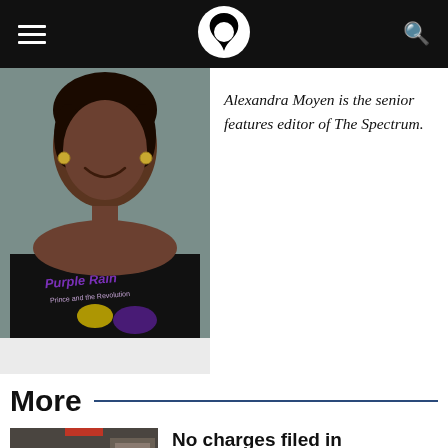The Spectrum — navigation header with hamburger menu, logo, and search icon
[Figure (photo): Portrait photo of Alexandra Moyen, a young Black woman smiling, wearing a Purple Rain Prince t-shirt, photographed against a grey background]
Alexandra Moyen is the senior features editor of The Spectrum.
More
[Figure (photo): Indoor photo of a meeting or public event, people seated with a figure speaking at a podium in the background]
No charges filed in connection with fallout surrounding Allen West